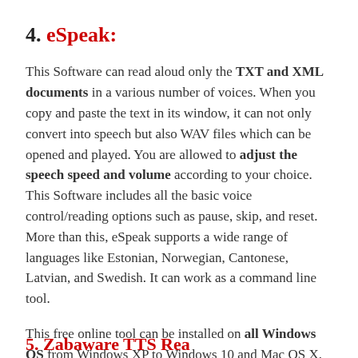4. eSpeak:
This Software can read aloud only the TXT and XML documents in a various number of voices. When you copy and paste the text in its window, it can not only convert into speech but also WAV files which can be opened and played. You are allowed to adjust the speech speed and volume according to your choice. This Software includes all the basic voice control/reading options such as pause, skip, and reset. More than this, eSpeak supports a wide range of languages like Estonian, Norwegian, Cantonese, Latvian, and Swedish. It can work as a command line tool.
This free online tool can be installed on all Windows OS from Windows XP to Windows 10 and Mac OS X.
5. Zabaware TTS Reader